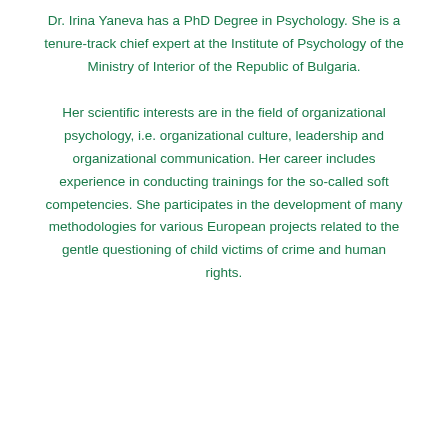Dr. Irina Yaneva has a PhD Degree in Psychology. She is a tenure-track chief expert at the Institute of Psychology of the Ministry of Interior of the Republic of Bulgaria. Her scientific interests are in the field of organizational psychology, i.e. organizational culture, leadership and organizational communication. Her career includes experience in conducting trainings for the so-called soft competencies. She participates in the development of many methodologies for various European projects related to the gentle questioning of child victims of crime and human rights.